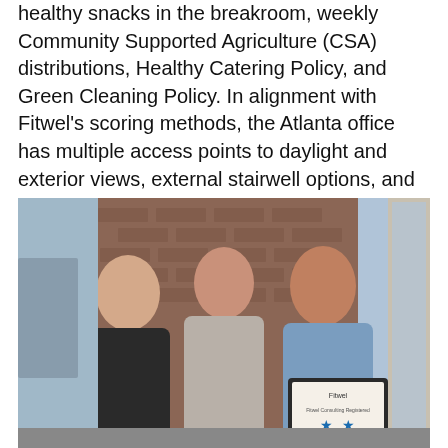healthy snacks in the breakroom, weekly Community Supported Agriculture (CSA) distributions, Healthy Catering Policy, and Green Cleaning Policy. In alignment with Fitwel's scoring methods, the Atlanta office has multiple access points to daylight and exterior views, external stairwell options, and is situated within walking-distance to local restaurants.
[Figure (photo): Three people smiling and posing together in front of a brick wall. The person on the right is holding a framed Fitwel certificate showing two stars.]